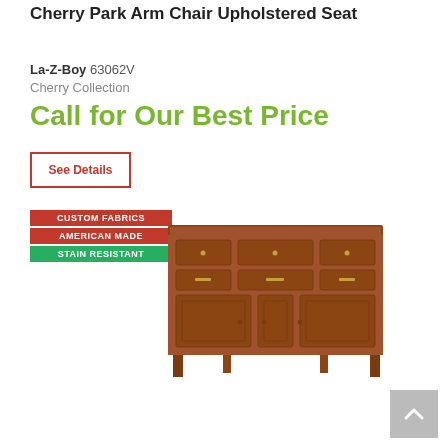Cherry Park Arm Chair Upholstered Seat
La-Z-Boy 63062V
Cherry Collection
Call for Our Best Price
See Details
[Figure (infographic): Three stacked badge labels: CUSTOM FABRICS (red), AMERICAN MADE (red), STAIN RESISTANT (green)]
[Figure (photo): Cherry Park sideboard/buffet furniture piece in dark cherry wood finish with drawers and cabinet doors]
[Figure (other): Scroll to top button arrow]